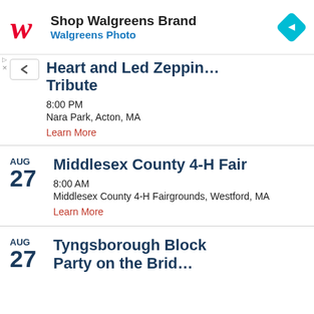[Figure (other): Walgreens advertisement banner with Walgreens logo (stylized W), 'Shop Walgreens Brand' heading, 'Walgreens Photo' subtext, and a blue diamond navigation icon.]
Heart and Led Zeppin Tribute | 8:00 PM | Nara Park, Acton, MA | Learn More
AUG 27 | Middlesex County 4-H Fair | 8:00 AM | Middlesex County 4-H Fairgrounds, Westford, MA | Learn More
AUG 27 | Tyngsborough Block Party on the Bridge (partial, cut off)